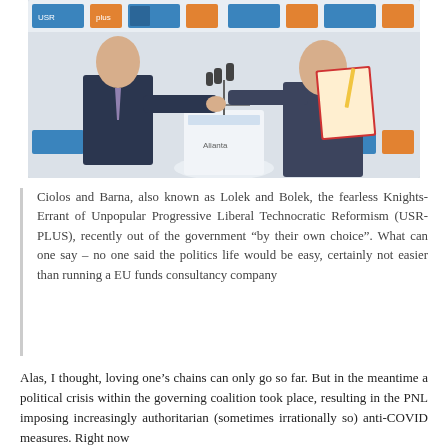[Figure (photo): Two men in suits shaking hands at a press conference podium with microphones. A banner reading 'Alianta' is visible in the background along with tiled logos.]
Ciolos and Barna, also known as Lolek and Bolek, the fearless Knights-Errant of Unpopular Progressive Liberal Technocratic Reformism (USR-PLUS), recently out of the government “by their own choice”. What can one say – no one said the politics life would be easy, certainly not easier than running a EU funds consultancy company
Alas, I thought, loving one’s chains can only go so far. But in the meantime a political crisis within the governing coalition took place, resulting in the PNL imposing increasingly authoritarian (sometimes irrationally so) anti-COVID measures. Right now